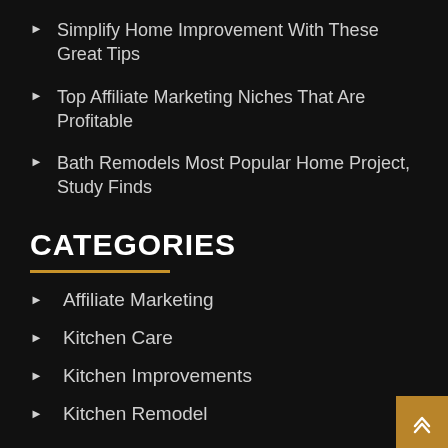Simplify Home Improvement With These Great Tips
Top Affiliate Marketing Niches That Are Profitable
Bath Remodels Most Popular Home Project, Study Finds
CATEGORIES
Affiliate Marketing
Kitchen Care
Kitchen Improvements
Kitchen Remodel